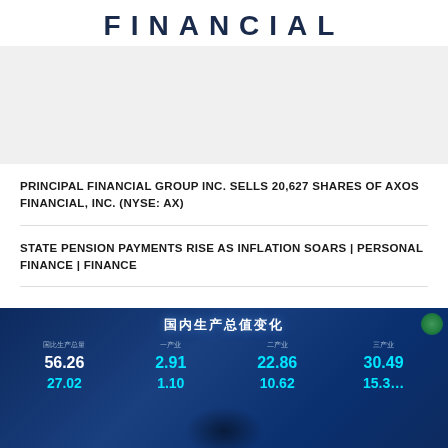FINANCIAL
PRINCIPAL FINANCIAL GROUP INC. SELLS 20,627 SHARES OF AXOS FINANCIAL, INC. (NYSE: AX)
STATE PENSION PAYMENTS RISE AS INFLATION SOARS | PERSONAL FINANCE | FINANCE
[Figure (photo): Screenshot of a Chinese financial data display showing GDP change statistics (国内生产总值变化) with numeric values including 56.26, 2.91, 22.86, 30.49 in the first row and partial second row values, displayed in white and cyan on a dark blue background.]